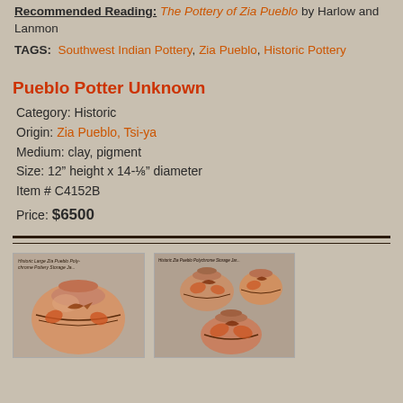Recommended Reading: The Pottery of Zia Pueblo by Harlow and Lanmon
TAGS: Southwest Indian Pottery, Zia Pueblo, Historic Pottery
Pueblo Potter Unknown
Category: Historic
Origin: Zia Pueblo, Tsi-ya
Medium: clay, pigment
Size: 12" height x 14-⅛" diameter
Item # C4152B
Price: $6500
[Figure (photo): Photo of Historic Large Zia Pueblo Polychrome Pottery Storage Jar]
[Figure (photo): Photo of two Zia Pueblo polychrome pottery storage jars shown together]